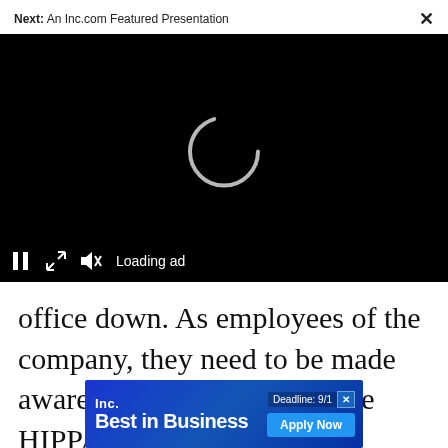Next: An Inc.com Featured Presentation
[Figure (screenshot): Video player with black background showing a loading spinner (partial circle arc in white), with playback controls at bottom: pause button, expand button, mute button, and 'Loading ad' text.]
office down. As employees of the company, they need to be made aware of how regulations like HIPPA or the SEC impact the s... and
[Figure (infographic): Inc. Best in Business advertisement banner with blue gradient background. Shows 'Inc.' logo, 'Best in Business' in bold white text, 'Deadline: 9/1' label with close X, and 'Apply Now' button.]